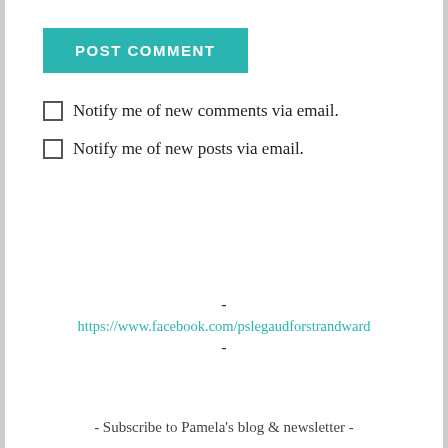POST COMMENT
Notify me of new comments via email.
Notify me of new posts via email.
-
https://www.facebook.com/pslegaudforstrandward
-
- Subscribe to Pamela's blog & newsletter -